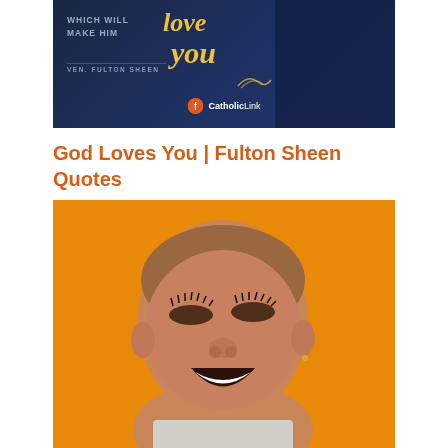[Figure (photo): Dark blue promotional image with text: 'WHICH WILL MAKE HIM love you' in yellow italic script, attributed to VEN. FULTON SHEEN, with CatholicLink logo at bottom]
God Loves You | Fulton Sheen Quotes
[Figure (photo): Photo of a Black woman with shaved head, laughing/smiling broadly with eyes closed, against an orange background, wearing a light gray top]